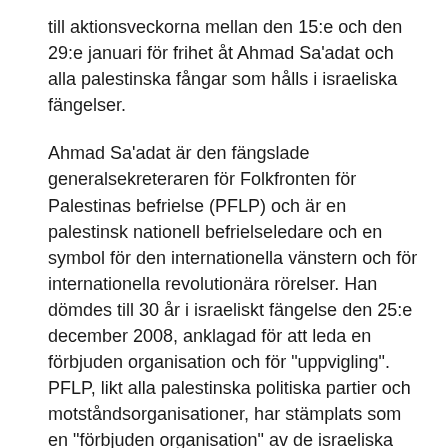till aktionsveckorna mellan den 15:e och den 29:e januari för frihet åt Ahmad Sa'adat och alla palestinska fångar som hålls i israeliska fängelser.
Ahmad Sa'adat är den fängslade generalsekreteraren för Folkfronten för Palestinas befrielse (PFLP) och är en palestinsk nationell befrielseledare och en symbol för den internationella vänstern och för internationella revolutionära rörelser. Han dömdes till 30 år i israeliskt fängelse den 25:e december 2008, anklagad för att leda en förbjuden organisation och för "uppvigling". PFLP, likt alla palestinska politiska partier och motståndsorganisationer, har stämplats som en "förbjuden organisation" av de israeliska ockupationsmyndigheterna.
För Sa'adats och hans kamrater markerar detta år 18 år sedan Palestinska myndighetens fängslade dem som del av